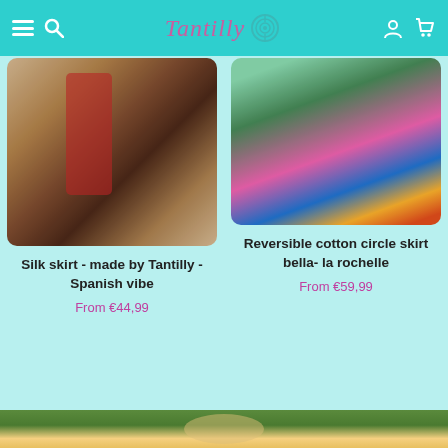Tantilly — navigation header with menu, search, logo, user account, cart icons
[Figure (photo): Blurred close-up photo of a red/dark silk skirt near a brown wooden post]
Silk skirt - made by Tantilly - Spanish vibe
From €44,99
[Figure (photo): Blurred photo of children wearing colorful reversible cotton circle skirts in blue, pink, and orange outdoors]
Reversible cotton circle skirt bella- la rochelle
From €59,99
[Figure (photo): Bottom strip showing the top of a person with blonde hair outdoors among green plants]